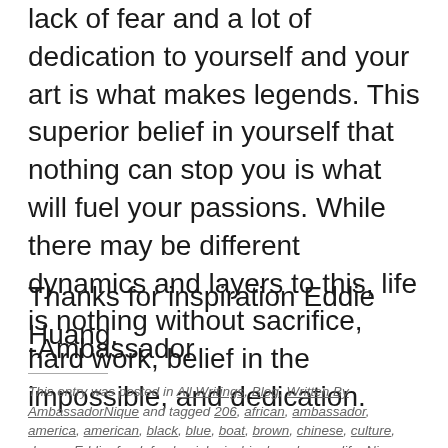lack of fear and a lot of dedication to yourself and your art is what makes legends. This superior belief in yourself that nothing can stop you is what will fuel your passions. While there may be different dynamics and layers to this, life is nothing without sacrifice, hard work, belief in the impossible, and dedication.
Thanks for inspiration Eddie Huang.
-Ambassador
This entry was posted in All Writings, Blog, Written By AmbassadorNique and tagged 206, african, ambassador, america, american, black, blue, boat, brown, chinese, culture, dream, Eddie, food, fresh, giologic, hip, hop, huang, life, Nique, off, orlando, Productions, prometheus, scholars, talk,